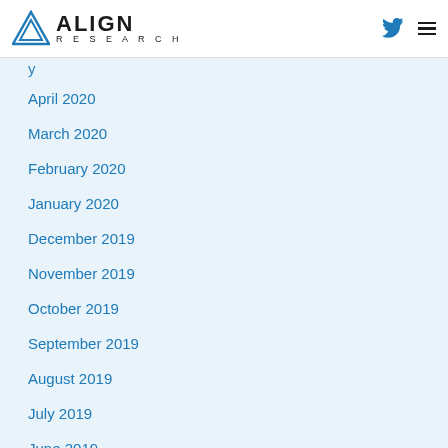ALIGN RESEARCH
April 2020
March 2020
February 2020
January 2020
December 2019
November 2019
October 2019
September 2019
August 2019
July 2019
June 2019
May 2019